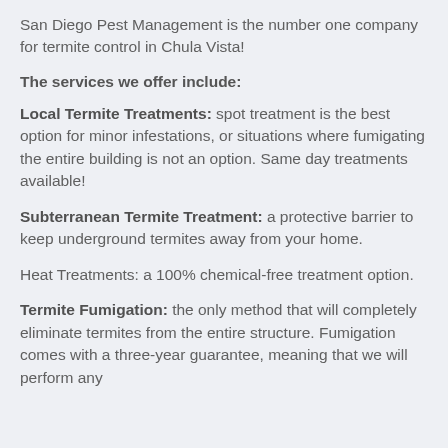San Diego Pest Management is the number one company for termite control in Chula Vista!
The services we offer include:
Local Termite Treatments: spot treatment is the best option for minor infestations, or situations where fumigating the entire building is not an option. Same day treatments available!
Subterranean Termite Treatment: a protective barrier to keep underground termites away from your home.
Heat Treatments: a 100% chemical-free treatment option.
Termite Fumigation: the only method that will completely eliminate termites from the entire structure. Fumigation comes with a three-year guarantee, meaning that we will perform any